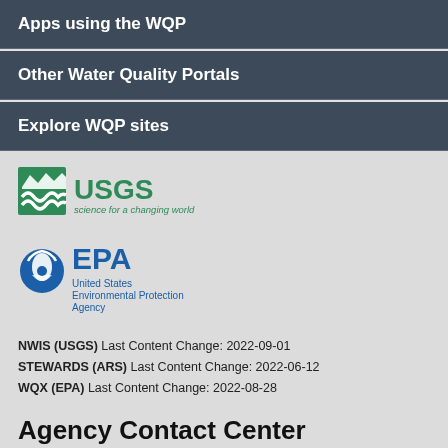Apps using the WQP
Other Water Quality Portals
Explore WQP sites
[Figure (logo): USGS logo — science for a changing world]
[Figure (logo): EPA logo — United States Environmental Protection Agency]
NWIS (USGS) Last Content Change: 2022-09-01
STEWARDS (ARS) Last Content Change: 2022-06-12
WQX (EPA) Last Content Change: 2022-08-28
Agency Contact Center